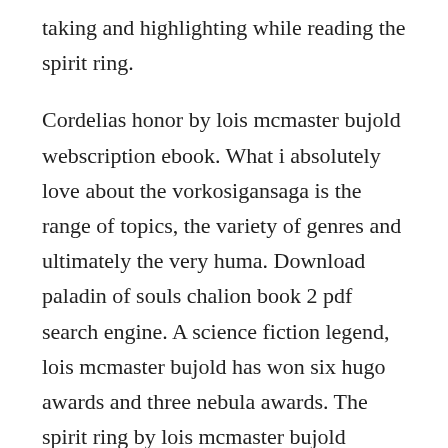taking and highlighting while reading the spirit ring.
Cordelias honor by lois mcmaster bujold webscription ebook. What i absolutely love about the vorkosigansaga is the range of topics, the variety of genres and ultimately the very huma. Download paladin of souls chalion book 2 pdf search engine. A science fiction legend, lois mcmaster bujold has won six hugo awards and three nebula awards. The spirit ring by lois mcmaster bujold author grover gardner narrator.